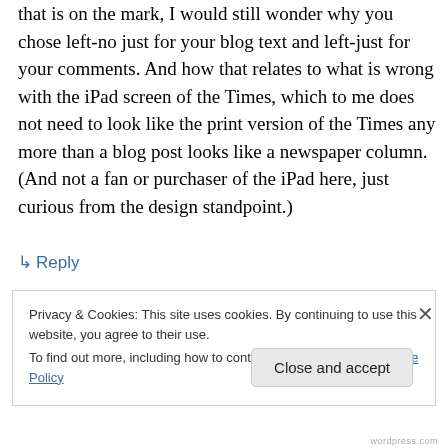that is on the mark, I would still wonder why you chose left-no just for your blog text and left-just for your comments. And how that relates to what is wrong with the iPad screen of the Times, which to me does not need to look like the print version of the Times any more than a blog post looks like a newspaper column. (And not a fan or purchaser of the iPad here, just curious from the design standpoint.)
↳ Reply
Privacy & Cookies: This site uses cookies. By continuing to use this website, you agree to their use.
To find out more, including how to control cookies, see here: Cookie Policy